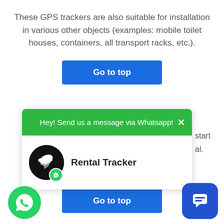These GPS trackers are also suitable for installation in various other objects (examples: mobile toilet houses, containers, all transport racks, etc.).
[Figure (screenshot): Blue 'Go to top' button]
[Figure (screenshot): WhatsApp popup widget with green header 'Hey! Send us a message via Whatsapp!', close X button, Rental Tracker logo and brand name, partial text 'start' and 'al.' on right side.]
[Figure (screenshot): Second blue 'Go to top' button partially visible behind popup]
[Figure (screenshot): Green circular WhatsApp FAB icon bottom left]
[Figure (screenshot): Blue rounded square chat FAB icon bottom right]